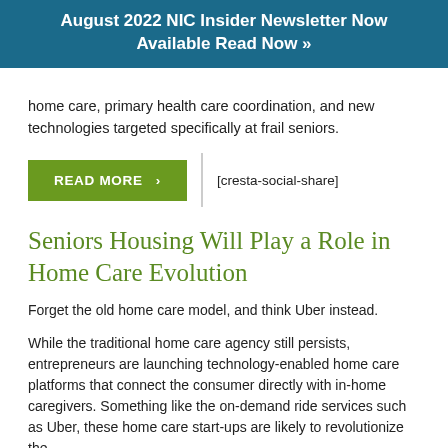August 2022 NIC Insider Newsletter Now Available Read Now »
home care, primary health care coordination, and new technologies targeted specifically at frail seniors.
READ MORE  ›   [cresta-social-share]
Seniors Housing Will Play a Role in Home Care Evolution
Forget the old home care model, and think Uber instead.
While the traditional home care agency still persists, entrepreneurs are launching technology-enabled home care platforms that connect the consumer directly with in-home caregivers. Something like the on-demand ride services such as Uber, these home care start-ups are likely to revolutionize the